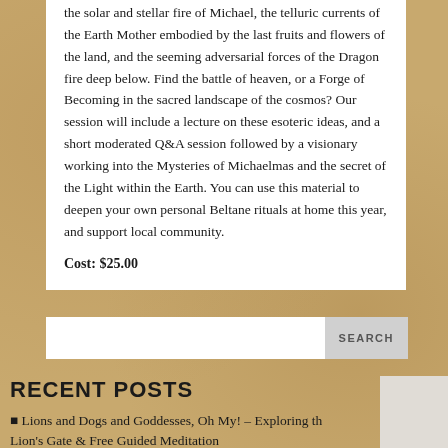the solar and stellar fire of Michael, the telluric currents of the Earth Mother embodied by the last fruits and flowers of the land, and the seeming adversarial forces of the Dragon fire deep below. Find the battle of heaven, or a Forge of Becoming in the sacred landscape of the cosmos? Our session will include a lecture on these esoteric ideas, and a short moderated Q&A session followed by a visionary working into the Mysteries of Michaelmas and the secret of the Light within the Earth. You can use this material to deepen your own personal Beltane rituals at home this year, and support local community.
Cost: $25.00
RECENT POSTS
🔲 Lions and Dogs and Goddesses, Oh My! – Exploring the Lion's Gate & Free Guided Meditation